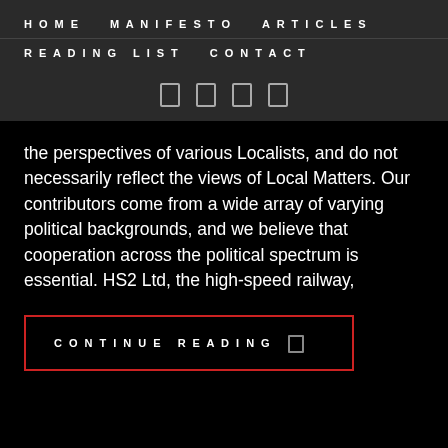HOME   MANIFESTO   ARTICLES   READING LIST   CONTACT
the perspectives of various Localists, and do not necessarily reflect the views of Local Matters. Our contributors come from a wide array of varying political backgrounds, and we believe that cooperation across the political spectrum is essential. HS2 Ltd, the high-speed railway,
CONTINUE READING →